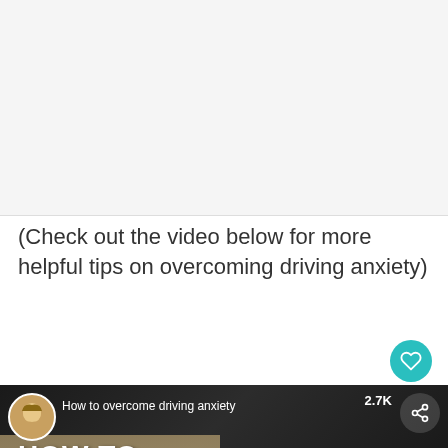[Figure (photo): Blank white/light gray area at top, likely a placeholder for a photo or content block]
(Check out the video below for more helpful tips on overcoming driving anxiety)
[Figure (screenshot): Video thumbnail for 'How to overcome driving anxiety' showing a blonde woman looking up, with bold white text 'HOW TO OVERCO[ME] DRIVING ANXIETY', a circular profile picture, share button, 2.7K count, and a 'What's Next' panel showing '5 Reasons Why People...']